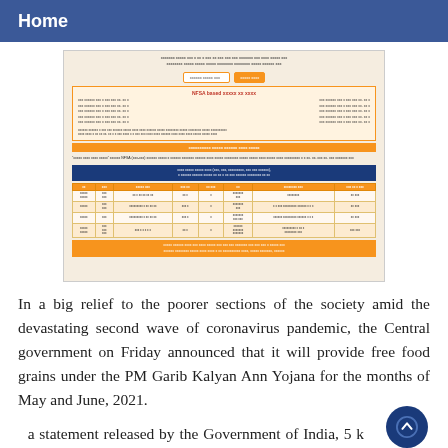Home
[Figure (infographic): A Gujarati-language government infographic about NFSA food distribution and PM Garib Kalyan Ann Yojana, showing eligibility criteria, ration card categories, and a table of beneficiary entitlements.]
In a big relief to the poorer sections of the society amid the devastating second wave of coronavirus pandemic, the Central government on Friday announced that it will provide free food grains under the PM Garib Kalyan Ann Yojana for the months of May and June, 2021.
a statement released by the Government of India, 5 kg of free food grains will be provided to around 80 crore beneficiaries